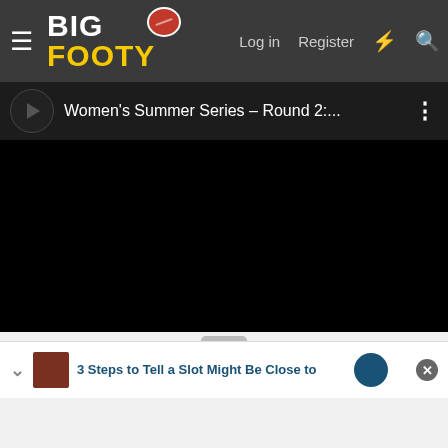[Figure (screenshot): BigFooty website navigation bar with hamburger menu, BIG FOOTY logo, Log in, Register, lightning bolt and search icons]
[Figure (screenshot): Embedded video player showing Women's Summer Series Round 2 with black video content area and channel avatar]
Teams list:
[Figure (photo): AFLW players in action, orange/brown tones]
AFLW Summer Series: Round 2 Information
All the details for Round 2 of the AFLW Summer Series.
3 Steps to Tell a Slot Might Be Close to